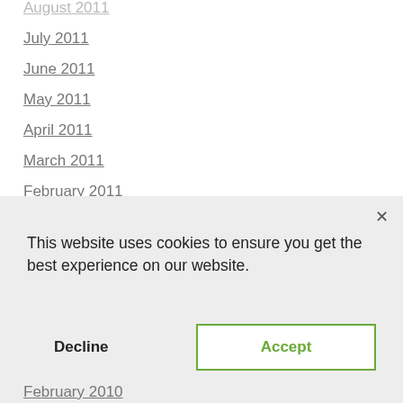August 2011
July 2011
June 2011
May 2011
April 2011
March 2011
February 2011
January 2011
December 2010
November 2010
October 2010
This website uses cookies to ensure you get the best experience on our website.
February 2010